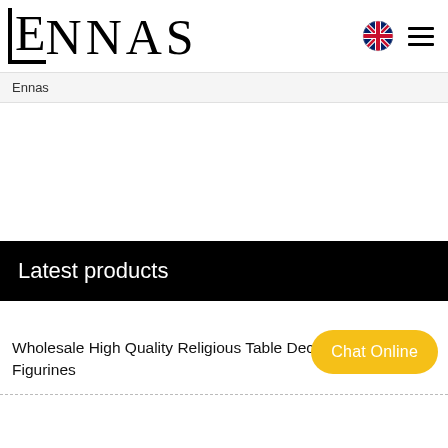ENNAS
Ennas
Latest products
Wholesale High Quality Religious Table Decoration of Mary Figurines
Chat Online